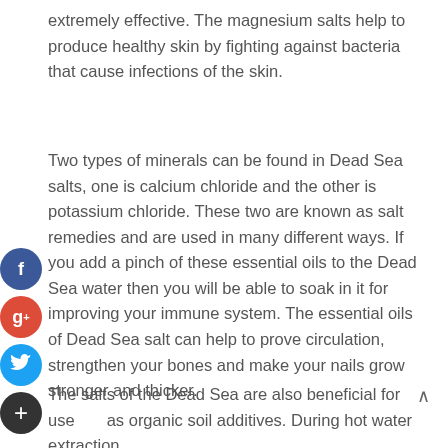extremely effective. The magnesium salts help to produce healthy skin by fighting against bacteria that cause infections of the skin.
Two types of minerals can be found in Dead Sea salts, one is calcium chloride and the other is potassium chloride. These two are known as salt remedies and are used in many different ways. If you add a pinch of these essential oils to the Dead Sea water then you will be able to soak in it for improving your immune system. The essential oils of Dead Sea salt can help to prove circulation, strengthen your bones and make your nails grow stronger and thicker.
The salts of the Dead Sea are also beneficial for use as organic soil additives. During hot water extraction,